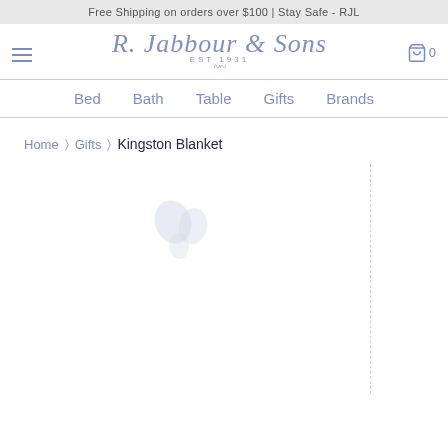Free Shipping on orders over $100 | Stay Safe - RJL
[Figure (logo): R. Jabbour & Sons EST 1931 script logo in muted blue]
Bed   Bath   Table   Gifts   Brands
Home > Gifts > Kingston Blanket
[Figure (other): Loading spinner / product image placeholder for Kingston Blanket product page]